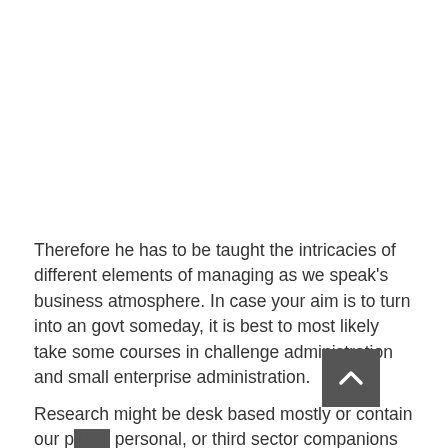Therefore he has to be taught the intricacies of different elements of managing as we speak's business atmosphere. In case your aim is to turn into an govt someday, it is best to most likely take some courses in challenge administration and small enterprise administration.
[Figure (other): Broken image placeholder with label 'Science Business' and a scroll-to-top button (dark grey square with upward chevron arrow) in the bottom right]
Research might be desk based mostly or contain our public personal, or third sector companions (such because the Scottish Government, native council, job centres, or